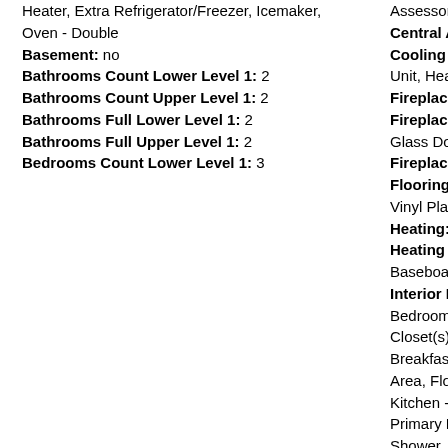Heater, Extra Refrigerator/Freezer, Icemaker, Oven - Double
Basement: no
Bathrooms Count Lower Level 1: 2
Bathrooms Count Upper Level 1: 2
Bathrooms Full Lower Level 1: 2
Bathrooms Full Upper Level 1: 2
Bedrooms Count Lower Level 1: 3
Assessor
Central Air: yes
Cooling Type: Ce Unit, Heat Pump(s
Fireplace: yes
Fireplace Features: Glass Doors
Fireplaces Count:
Flooring Type: C Vinyl Plank, Vinyl,
Heating: yes
Heating Type: Ce Baseboard - Elect
Interior Features: Bedroom - Bay Fr Closet(s), Window Breakfast Area, B Area, Floor Plan - Kitchen - Island, K Primary Bath(s), P Shower, Studio, T Wood Floors
Laundry Type: H Lower Floor, Wast
Levels Count: 2
Living Area SqFt:
Room List: Living Bedroom, Sitting R Bedroom 4, Bedro Foyer, Sun/Florida